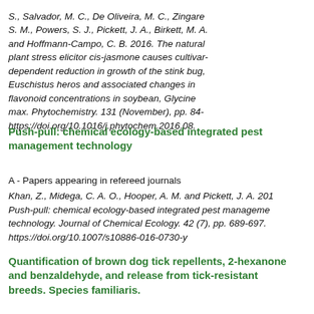S., Salvador, M. C., De Oliveira, M. C., Zingare S. M., Powers, S. J., Pickett, J. A., Birkett, M. A. and Hoffmann-Campo, C. B. 2016. The natural plant stress elicitor cis-jasmone causes cultivar-dependent reduction in growth of the stink bug, Euschistus heros and associated changes in flavonoid concentrations in soybean, Glycine max. Phytochemistry. 131 (November), pp. 84- https://doi.org/10.1016/j.phytochem.2016.08.
Push-pull: chemical ecology-based integrated pest management technology
A - Papers appearing in refereed journals
Khan, Z., Midega, C. A. O., Hooper, A. M. and Pickett, J. A. 201 Push-pull: chemical ecology-based integrated pest manageme technology. Journal of Chemical Ecology. 42 (7), pp. 689-697. https://doi.org/10.1007/s10886-016-0730-y
Quantification of brown dog tick repellents, 2-hexanone and benzaldehyde, and release from tick-resistant breeds. Species familiaris.